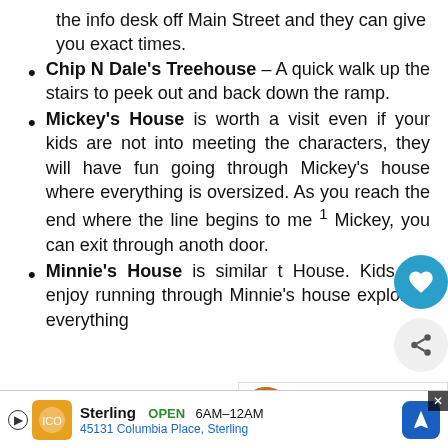the info desk off Main Street and they can give you exact times.
Chip N Dale's Treehouse – A quick walk up the stairs to peek out and back down the ramp.
Mickey's House is worth a visit even if your kids are not into meeting the characters, they will have fun going through Mickey's house where everything is oversized. As you reach the end where the line begins to me Mickey, you can exit through another door.
Minnie's House is similar to Mickey's House. Kids will enjoy running through Minnie's house exploring everything
WHAT'S NEXT → Insider's Guide: The...
Sterling  OPEN  6AM–12AM  45131 Columbia Place, Sterling